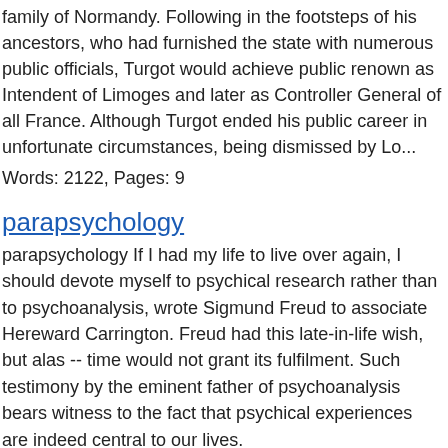family of Normandy. Following in the footsteps of his ancestors, who had furnished the state with numerous public officials, Turgot would achieve public renown as Intendent of Limoges and later as Controller General of all France. Although Turgot ended his public career in unfortunate circumstances, being dismissed by Lo...
Words: 2122, Pages: 9
parapsychology
parapsychology If I had my life to live over again, I should devote myself to psychical research rather than to psychoanalysis, wrote Sigmund Freud to associate Hereward Carrington. Freud had this late-in-life wish, but alas -- time would not grant its fulfilment. Such testimony by the eminent father of psychoanalysis bears witness to the fact that psychical experiences are indeed central to our lives.